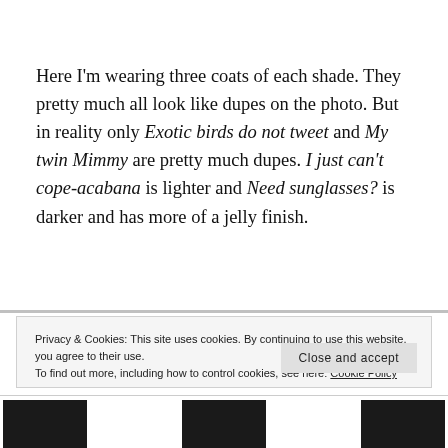Here I'm wearing three coats of each shade. They pretty much all look like dupes on the photo. But in reality only Exotic birds do not tweet and My twin Mimmy are pretty much dupes. I just can't cope-acabana is lighter and Need sunglasses? is darker and has more of a jelly finish.
Privacy & Cookies: This site uses cookies. By continuing to use this website, you agree to their use.
To find out more, including how to control cookies, see here: Cookie Policy